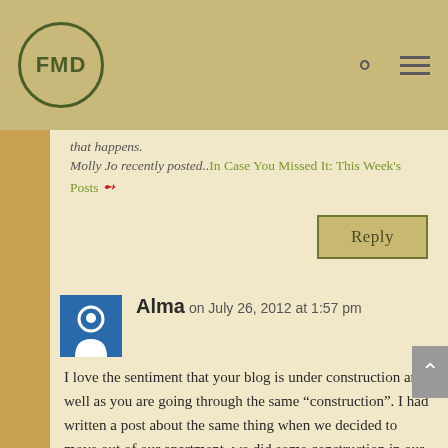FMD logo with navigation icons
that happens. Molly Jo recently posted..In Case You Missed It: This Week's Posts
Reply
Alma on July 26, 2012 at 1:57 pm
I love the sentiment that your blog is under construction and well as you are going through the same “construction”. I had written a post about the same thing when we decided to move out of our apartment, we did some construction in our apartment. I felt like I was going through some of the same changes.